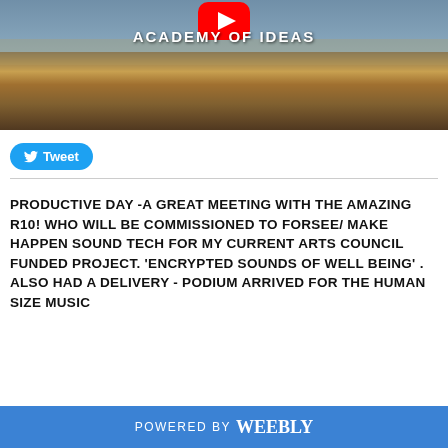[Figure (screenshot): YouTube video thumbnail showing 'Academy of Ideas' channel with a painted seascape background of boats on shore and a red YouTube play button at top center]
Tweet
PRODUCTIVE DAY -A GREAT MEETING WITH THE AMAZING R10! WHO WILL BE COMMISSIONED TO FORSEE/ MAKE HAPPEN SOUND TECH FOR MY CURRENT ARTS COUNCIL FUNDED PROJECT. 'ENCRYPTED SOUNDS OF WELL BEING' . ALSO HAD A DELIVERY - PODIUM ARRIVED FOR THE HUMAN SIZE MUSIC
POWERED BY weebly